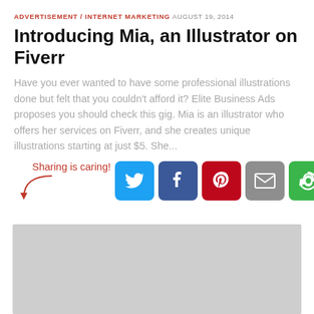ADVERTISEMENT / INTERNET MARKETING  AUGUST 19, 2014
Introducing Mia, an Illustrator on Fiverr
Have you ever wanted to have some professional illustrations done but felt that you couldn't afford it? Elite Business Ads proposes you should check this gig. Mia is an illustrator who offers her services on Fiverr, and she creates unique illustrations starting at just $5. She...
[Figure (infographic): Sharing is caring! social sharing buttons: Twitter (blue bird), Facebook (blue f), Pinterest (red P), Email (grey envelope), More (green circular arrows)]
[Figure (other): Grey advertisement placeholder block]